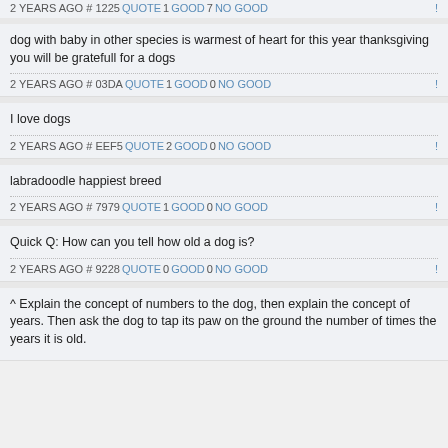2 YEARS AGO # 1225 QUOTE 1 GOOD 7 NO GOOD (partial, top of page)
dog with baby in other species is warmest of heart for this year thanksgiving you will be gratefull for a dogs
2 YEARS AGO # 03DA QUOTE 1 GOOD 0 NO GOOD
I love dogs
2 YEARS AGO # EEF5 QUOTE 2 GOOD 0 NO GOOD
labradoodle happiest breed
2 YEARS AGO # 7979 QUOTE 1 GOOD 0 NO GOOD
Quick Q: How can you tell how old a dog is?
2 YEARS AGO # 9228 QUOTE 0 GOOD 0 NO GOOD
^ Explain the concept of numbers to the dog, then explain the concept of years. Then ask the dog to tap its paw on the ground the number of times the years it is old.